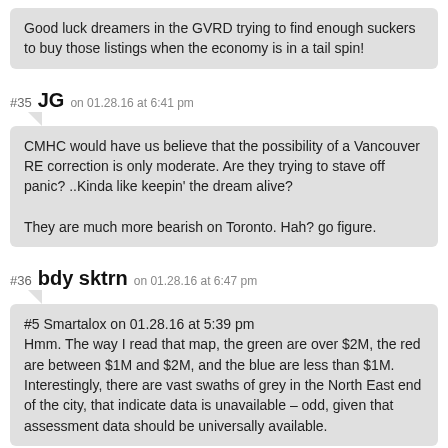Good luck dreamers in the GVRD trying to find enough suckers to buy those listings when the economy is in a tail spin!
#35 JG on 01.28.16 at 6:41 pm
CMHC would have us believe that the possibility of a Vancouver RE correction is only moderate. Are they trying to stave off panic? ..Kinda like keepin' the dream alive?

They are much more bearish on Toronto. Hah? go figure.
#36 bdy sktrn on 01.28.16 at 6:47 pm
#5 Smartalox on 01.28.16 at 5:39 pm
Hmm. The way I read that map, the green are over $2M, the red are between $1M and $2M, and the blue are less than $1M. Interestingly, there are vast swaths of grey in the North East end of the city, that indicate data is unavailable – odd, given that assessment data should be universally available.